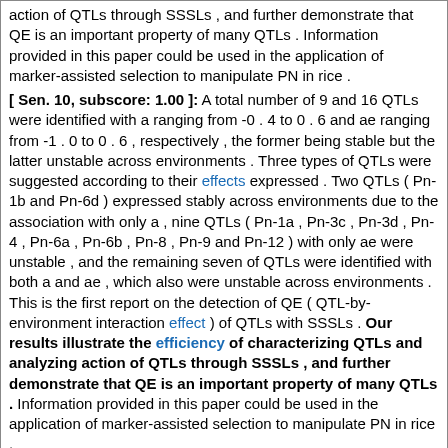action of QTLs through SSSLs , and further demonstrate that QE is an important property of many QTLs . Information provided in this paper could be used in the application of marker-assisted selection to manipulate PN in rice .
[ Sen. 10, subscore: 1.00 ]: A total number of 9 and 16 QTLs were identified with a ranging from -0 . 4 to 0 . 6 and ae ranging from -1 . 0 to 0 . 6 , respectively , the former being stable but the latter unstable across environments . Three types of QTLs were suggested according to their effects expressed . Two QTLs ( Pn-1b and Pn-6d ) expressed stably across environments due to the association with only a , nine QTLs ( Pn-1a , Pn-3c , Pn-3d , Pn-4 , Pn-6a , Pn-6b , Pn-8 , Pn-9 and Pn-12 ) with only ae were unstable , and the remaining seven of QTLs were identified with both a and ae , which also were unstable across environments . This is the first report on the detection of QE ( QTL-by-environment interaction effect ) of QTLs with SSSLs . Our results illustrate the efficiency of characterizing QTLs and analyzing action of QTLs through SSSLs , and further demonstrate that QE is an important property of many QTLs . Information provided in this paper could be used in the application of marker-assisted selection to manipulate PN in rice .
Score: 10.00
Title: Recombinant interferon beta or glatiramer acetate for delaying conversion of the first demyelinating event to multiple sclerosis .
Journal: Cochrane Database Syst Rev Type: MEDLINE
Literature: oryza Field: abstract Doc ID: pub18425915 Accession (PMID): 18425915
Abstract: BACKGROUND : Immunomodulatory drugs have been shown to be only modestly effective in clinically definite relapsing remitting